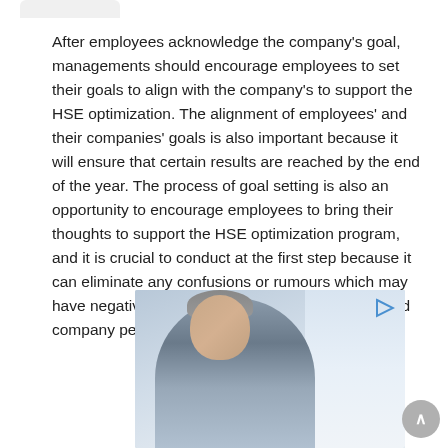After employees acknowledge the company's goal, managements should encourage employees to set their goals to align with the company's to support the HSE optimization. The alignment of employees' and their companies' goals is also important because it will ensure that certain results are reached by the end of the year. The process of goal setting is also an opportunity to encourage employees to bring their thoughts to support the HSE optimization program, and it is crucial to conduct at the first step because it can eliminate any confusions or rumours which may have negative effects on both workplace morale and company performance.
[Figure (photo): A middle-aged man with grey beard wearing a light blue shirt and tie, smiling, photographed in an office or indoor environment with windows visible in the background.]